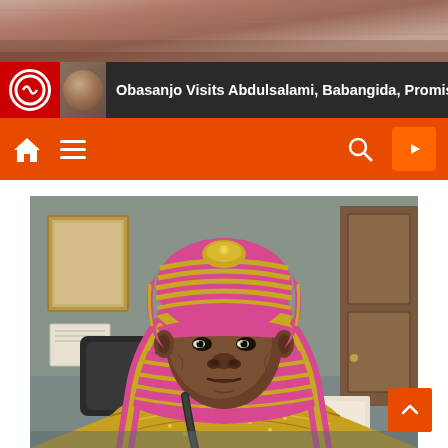[Figure (photo): Partial top image strip showing textured fabric/carpet background]
Obasanjo Visits Abdulsalami, Babangida, Promis
[Figure (screenshot): Navigation bar with home icon, hamburger menu, search icon, and YouTube icon on orange background]
[Figure (photo): Portrait photo of a man wearing a pink and gold striped turban and matching traditional robes/scarf, seated in an office setting with a black office chair visible behind him]